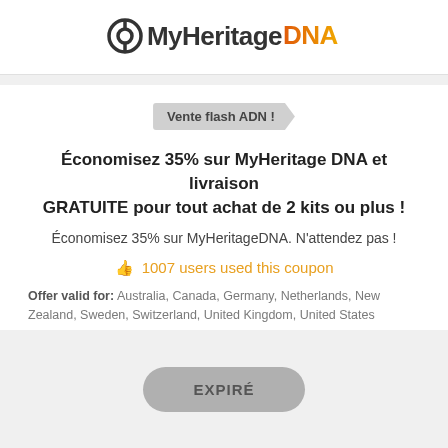[Figure (logo): MyHeritage DNA logo with circular icon and colorful DNA text]
Vente flash ADN !
Économisez 35% sur MyHeritage DNA et livraison GRATUITE pour tout achat de 2 kits ou plus !
Économisez 35% sur MyHeritageDNA. N'attendez pas !
👍 1007 users used this coupon
Offer valid for: Australia, Canada, Germany, Netherlands, New Zealand, Sweden, Switzerland, United Kingdom, United States
EXPIRÉ